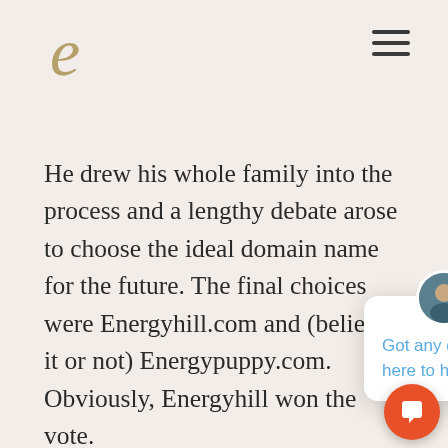e (logo) and hamburger menu
He drew his whole family into the process and a lengthy debate arose to choose the ideal domain name for the future. The final choices were Energyhill.com and (believe it or not) Energypuppy.com. Obviously, Energyhill won the vote.
As time passed, DE MARKETING. Ryan loving every minute accepted at the Savannah College of Art and Design in Georgia. On scholarship for his strong personal portfolio of work and
[Figure (screenshot): Chat popup widget with three circular avatars, a close button (×), and the message 'Got any questions? We're here to help.' in blue text on a white rounded card. An orange circular chat button is visible at bottom right.]